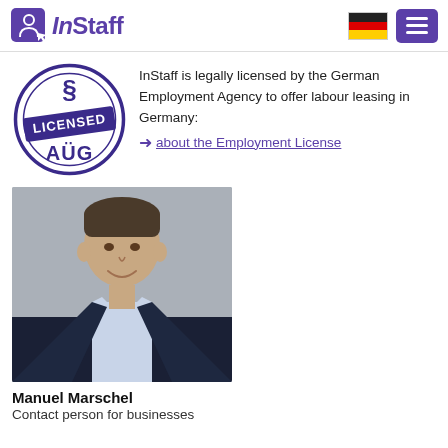InStaff
[Figure (logo): InStaff logo with purple person/user icon and purple italic InStaff text]
[Figure (other): German flag icon]
[Figure (other): Purple hamburger menu button with three white lines]
[Figure (illustration): AUG Licensed badge: circular dark blue/purple stamp with section symbol at top, LICENSED in bold across center, AUG at the bottom]
InStaff is legally licensed by the German Employment Agency to offer labour leasing in Germany:
➜ about the Employment License
[Figure (photo): Professional headshot of a young man with short hair, smiling, wearing a dark suit jacket and light blue shirt, against a grey background]
Manuel Marschel
Contact person for businesses